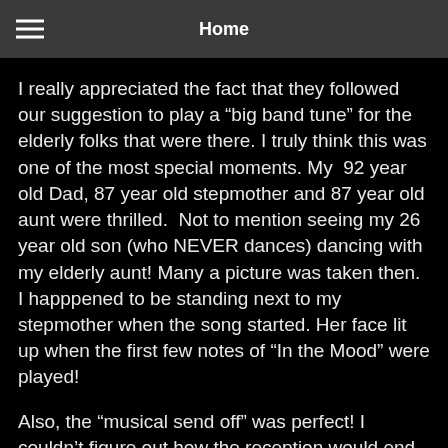Home
I really appreciated the fact that they followed our suggestion to play a “big band tune” for the elderly folks that were there. I truly think this was one of the most special moments. My  92 year old Dad, 87 year old stepmother and 87 year old aunt were thrilled.  Not to mention seeing my 26 year old son (who NEVER dances) dancing with my elderly aunt! Many a picture was taken then. I happpened to be standing next to my stepmother when the song started. Her face lit up when the first few notes of “In the Mood” were played!
Also, the “musical send off” was perfect! I couldn’t figure out how the reception would end without throwing rice or doing sparklers. Standing in a circle and celebrating Emily and Nat